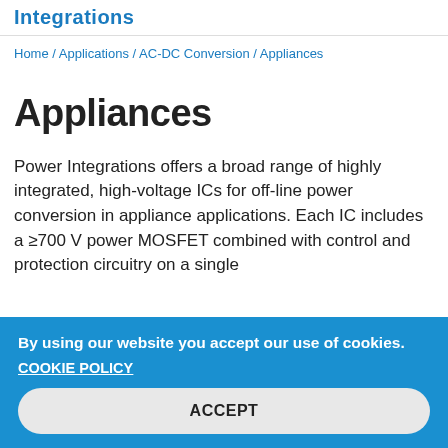Integrations
Home / Applications / AC-DC Conversion / Appliances
Appliances
Power Integrations offers a broad range of highly integrated, high-voltage ICs for off-line power conversion in appliance applications. Each IC includes a ≥700 V power MOSFET combined with control and protection circuitry on a single
By using our website you accept our use of cookies.
COOKIE POLICY
ACCEPT